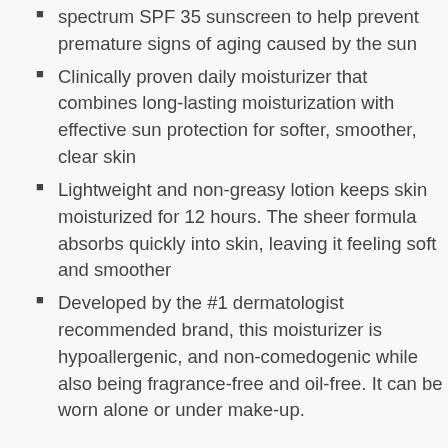spectrum SPF 35 sunscreen to help prevent premature signs of aging caused by the sun
Clinically proven daily moisturizer that combines long-lasting moisturization with effective sun protection for softer, smoother, clear skin
Lightweight and non-greasy lotion keeps skin moisturized for 12 hours. The sheer formula absorbs quickly into skin, leaving it feeling soft and smoother
Developed by the #1 dermatologist recommended brand, this moisturizer is hypoallergenic, and non-comedogenic while also being fragrance-free and oil-free. It can be worn alone or under make-up.
Help protect and moisturize your skin with Neutrogena Oil-Free Daily Facial Moisture with Broad Spectrum SPF 35 Sunscreen. This lightweight and non-greasy lotion is clinically proven to combine long-lasting moisturization